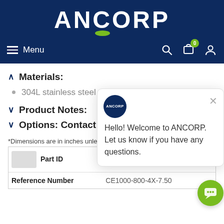[Figure (logo): ANCORP company logo in white text on dark navy blue background, with a green arc/swoosh under the O letter]
≡ Menu  [search icon] [cart icon with badge 0] [user icon]
∧ Materials:
304L stainless steel
∨ Product Notes:
∨ Options: Contact us fo
*Dimensions are in inches unless otherwise specified
|  | Part ID | 5000531 |
| --- | --- | --- |
|  | Reference Number | CE1000-800-4X-7.50 |
[Figure (screenshot): Chat popup widget showing ANCORP logo circle and message: Hello! Welcome to ANCORP. Let us know if you have any questions. With an X close button.]